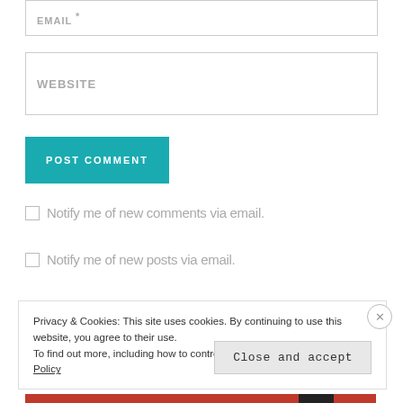[Figure (screenshot): Email input field with placeholder label EMAIL *]
[Figure (screenshot): Website input field with placeholder label WEBSITE]
[Figure (screenshot): Teal POST COMMENT button]
Notify me of new comments via email.
Notify me of new posts via email.
Privacy & Cookies: This site uses cookies. By continuing to use this website, you agree to their use. To find out more, including how to control cookies, see here: Cookie Policy
Close and accept